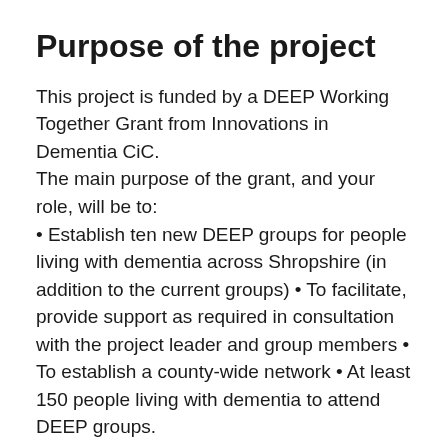Purpose of the project
This project is funded by a DEEP Working Together Grant from Innovations in Dementia CiC.
The main purpose of the grant, and your role, will be to:
• Establish ten new DEEP groups for people living with dementia across Shropshire (in addition to the current groups) • To facilitate, provide support as required in consultation with the project leader and group members • To establish a county-wide network • At least 150 people living with dementia to attend DEEP groups.